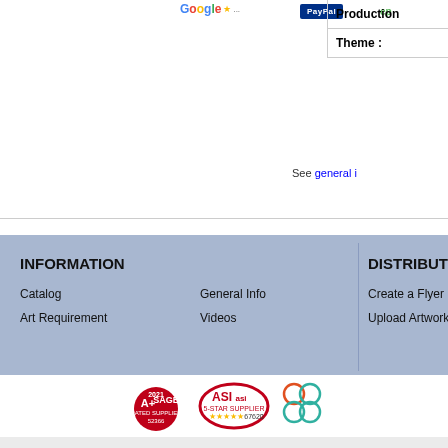[Figure (logo): Google logo with star rating]
[Figure (logo): PayPal logo blue button]
[Figure (logo): ep green logo]
|  |
| --- |
| Production |
| Theme : |
See general i...
INFORMATION
Catalog
Art Requirement
General Info
Videos
DISTRIBUTOR
Create a Flyer
Upload Artwork
[Figure (logo): 2021 SAGE A+ Rated Supplier 52366 badge]
[Figure (logo): ASI 5-Star Supplier 67620 badge]
[Figure (logo): Partial logo circles]
© Lion Circle, 2022. All rights reserved. E Wiz Pro V 1.0